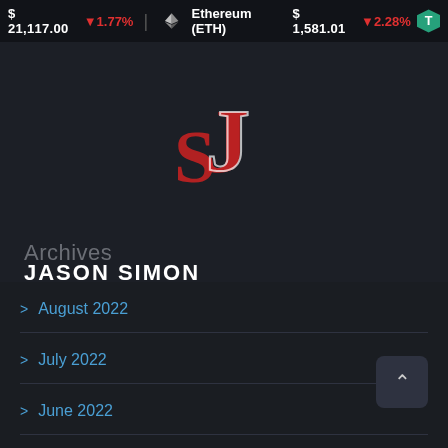$ 21,117.00 ▼1.77%   Ethereum (ETH) $ 1,581.01 ▼2.28%
[Figure (logo): Jason Simon logo — stylized red and white JS monogram above the text JASON SIMON]
Archives
JASON SIMON
August 2022
July 2022
June 2022
May 2022
April 2022
March 2022